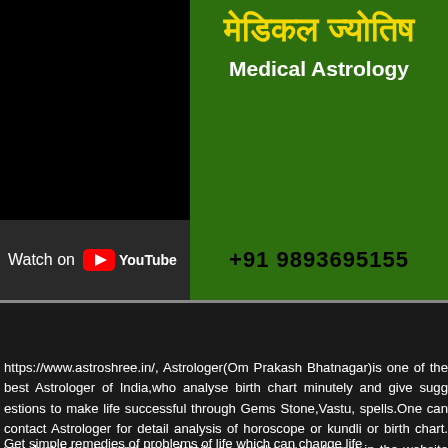[Figure (screenshot): YouTube video thumbnail for Medical Astrology (मेडिकल ज्योतिष) with green background, Hindi and English text, YouTube watch bar, and phone number +91 9893695155]
https://www.astroshree.in/, Astrologer(Om Prakash Bhatnagar)is one of the best Astrologer of India,who analyse birth chart minutely and give suggestions to make life successful through Gems Stone,Vastu, spells.One can contact Astrologer for detail analysis of horoscope or kundli or birth chart. you Just have to send your details as per the given format in the website contact us page.
Get simple remedies of problems of life which can change life and live life smoothly. Astrologer Om Prakash Bhatnagar also provide consultancy through whats-app, phone and email. His method of prediction is completely different from other Astrologers as well as Numerologists because he does Calculation of Degrees of the Planets affecting your Horoscope (Janam Kundli).